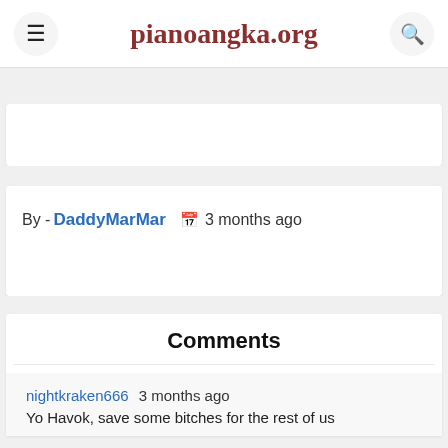pianoangka.org
By - DaddyMarMar  3 months ago
Comments
nightkraken666 3 months ago
Yo Havok, save some bitches for the rest of us